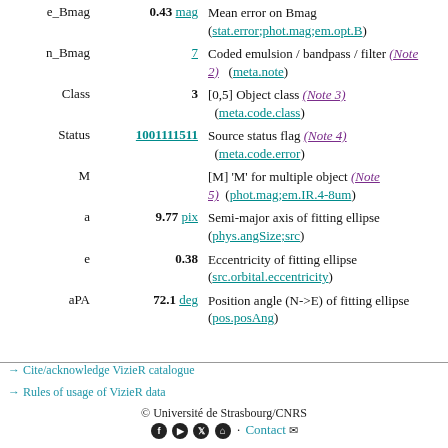e_Bmag  0.43 mag  Mean error on Bmag (stat.error;phot.mag;em.opt.B)
n_Bmag  7  Coded emulsion / bandpass / filter (Note 2) (meta.note)
Class  3  [0,5] Object class (Note 3) (meta.code.class)
Status  1001111511  Source status flag (Note 4) (meta.code.error)
M    [M] 'M' for multiple object (Note 5) (phot.mag;em.IR.4-8um)
a  9.77 pix  Semi-major axis of fitting ellipse (phys.angSize;src)
e  0.38  Eccentricity of fitting ellipse (src.orbital.eccentricity)
aPA  72.1 deg  Position angle (N->E) of fitting ellipse (pos.posAng)
→ Cite/acknowledge VizieR catalogue
→ Rules of usage of VizieR data
© Université de Strasbourg/CNRS  Contact